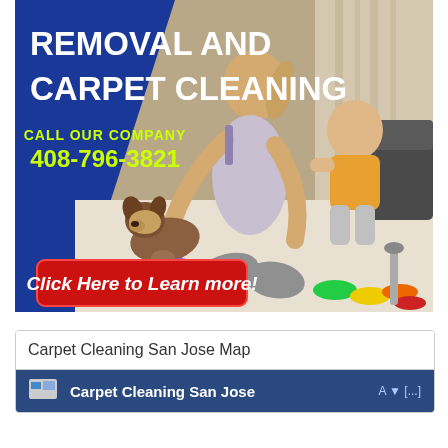[Figure (illustration): Advertising banner with dark blue background and diagonal white/photo section. Shows a woman with a toddler and small dog on a white carpet. Text reads 'REMOVAL AND CARPET CLEANING', 'CALL OUR COMPANY', '408-796-3821', and a red button 'Click Here to Learn more!']
| Carpet Cleaning San Jose Map |
| --- |
| Carpet Cleaning San Jose | A ▼ [...] |